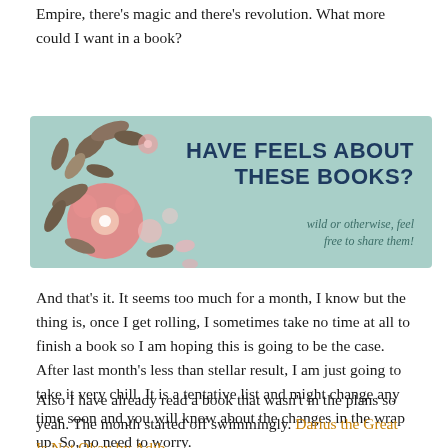Empire, there's magic and there's revolution. What more could I want in a book?
[Figure (illustration): Mint/teal colored banner with bold dark navy text reading 'HAVE FEELS ABOUT THESE BOOKS?' with a floral illustration on the left and italic text 'wild or otherwise, feel free to share them!' on the lower right.]
And that's it. It seems too much for a month, I know but the thing is, once I get rolling, I sometimes take no time at all to finish a book so I am hoping this is going to be the case. After last month's less than stellar result, I am just going to take it very chill. It is a tentative list and might change any time soon and you will know about the changes in the wrap up. So, no need to worry.
Also I have already read a book that wasn't in the plans so yeah. The month started off swimmingly. Darius the Great Is Not Okay by Adib Khorram...